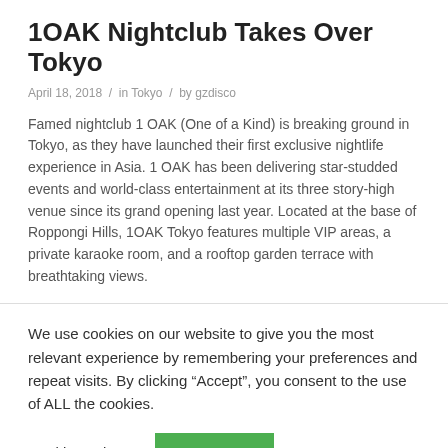1OAK Nightclub Takes Over Tokyo
April 18, 2018 / in Tokyo / by gzdisco
Famed nightclub 1 OAK (One of a Kind) is breaking ground in Tokyo, as they have launched their first exclusive nightlife experience in Asia. 1 OAK has been delivering star-studded events and world-class entertainment at its three story-high venue since its grand opening last year. Located at the base of Roppongi Hills, 1OAK Tokyo features multiple VIP areas, a private karaoke room, and a rooftop garden terrace with breathtaking views.
We use cookies on our website to give you the most relevant experience by remembering your preferences and repeat visits. By clicking “Accept”, you consent to the use of ALL the cookies.
Cookie settings
ACCEPT